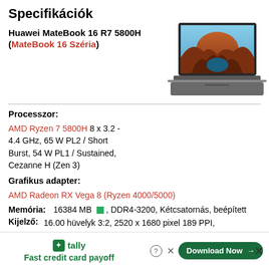Specifikációk
Huawei MateBook 16 R7 5800H (MateBook 16 Széria)
[Figure (photo): Huawei MateBook 16 laptop angled view showing canyon landscape on screen]
Processzor:
AMD Ryzen 7 5800H 8 x 3.2 - 4.4 GHz, 65 W PL2 / Short Burst, 54 W PL1 / Sustained, Cezanne H (Zen 3)
Grafikus adapter:
AMD Radeon RX Vega 8 (Ryzen 4000/5000)
Memória: 16384 MB ■, DDR4-3200, Kétcsatornás, beépített
Kijelző: 16.00 hüvelyk 3:2, 2520 x 1680 pixel 189 PPI, BOE TV160DKT-NH0, fényes: igen, 60 Hz
Alaplan: AMD Promonton/Bixby FCH
[Figure (screenshot): Tally advertisement banner: Fast credit card payoff with Download Now button]